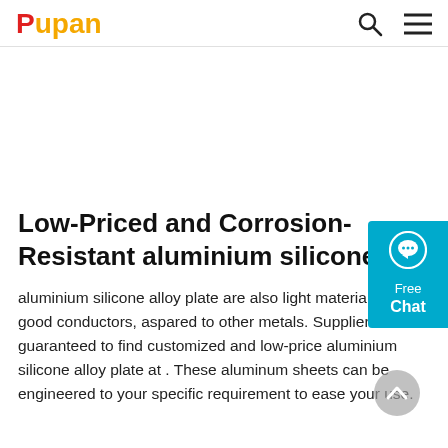Pupan
[Figure (illustration): Cyan/teal Free Chat button on right side with speech bubble icon, Free Chat text]
Low-Priced and Corrosion-Resistant aluminium silicone ...
aluminium silicone alloy plate are also light materials and good conductors, aspared to other metals. Suppliers are guaranteed to find customized and low-price aluminium silicone alloy plate at . These aluminum sheets can be engineered to your specific requirement to ease your use.